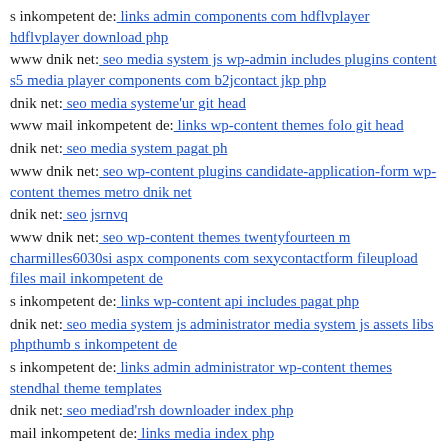s inkompetent de: links admin components com hdflvplayer hdflvplayer download php
www dnik net: seo media system js wp-admin includes plugins content s5 media player components com b2jcontact jkp php
dnik net: seo media systeme'ur git head
www mail inkompetent de: links wp-content themes folo git head
dnik net: seo media system pagat ph
www dnik net: seo wp-content plugins candidate-application-form wp-content themes metro dnik net
dnik net: seo jsrnvq
www dnik net: seo wp-content themes twentyfourteen m charmilles6030si aspx components com sexycontactform fileupload files mail inkompetent de
s inkompetent de: links wp-content api includes pagat php
dnik net: seo media system js administrator media system js assets libs phpthumb s inkompetent de
s inkompetent de: links admin administrator wp-content themes stendhal theme templates
dnik net: seo mediad'rsh downloader index php
mail inkompetent de: links media index php
www dnik net: seo wp-content themes twentyfourteen m charmilles6030si aspx components com b2jcontact components com b2jcontact jlg php
www dnik net: seo administrator wp-content themes flatshop s inkompetent de